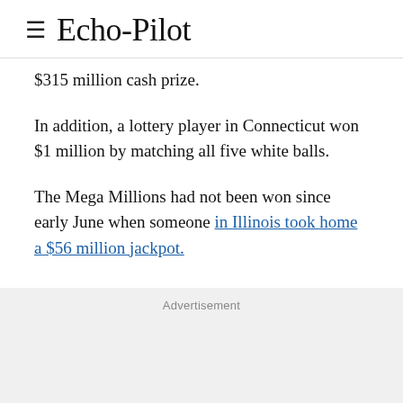Echo-Pilot
$315 million cash prize.
In addition, a lottery player in Connecticut won $1 million by matching all five white balls.
The Mega Millions had not been won since early June when someone in Illinois took home a $56 million jackpot.
Advertisement